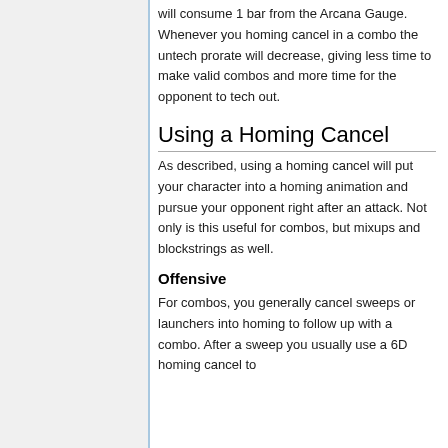will consume 1 bar from the Arcana Gauge. Whenever you homing cancel in a combo the untech prorate will decrease, giving less time to make valid combos and more time for the opponent to tech out.
Using a Homing Cancel
As described, using a homing cancel will put your character into a homing animation and pursue your opponent right after an attack. Not only is this useful for combos, but mixups and blockstrings as well.
Offensive
For combos, you generally cancel sweeps or launchers into homing to follow up with a combo. After a sweep you usually use a 6D homing cancel to